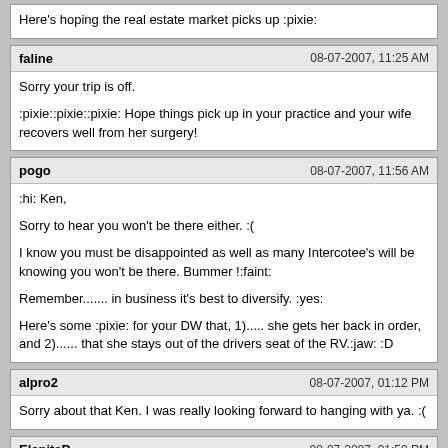Here's hoping the real estate market picks up :pixie:
faline | 08-07-2007, 11:25 AM
Sorry your trip is off.

:pixie::pixie::pixie: Hope things pick up in your practice and your wife recovers well from her surgery!
pogo | 08-07-2007, 11:56 AM
:hi: Ken,

Sorry to hear you won't be there either. :(

I know you must be disappointed as well as many Intercotee's will be knowing you won't be there. Bummer !:faint:

Remember....... in business it's best to diversify. :yes:

Here's some :pixie: for your DW that, 1)..... she gets her back in order, and 2)...... that she stays out of the drivers seat of the RV.:jaw: :D
alpro2 | 08-07-2007, 01:12 PM
Sorry about that Ken. I was really looking forward to hanging with ya. :(
ElenitaB | 08-07-2007, 01:50 PM
We'll miss you but the most important thing is your DW's health. You must stop making her carry around all the drums!